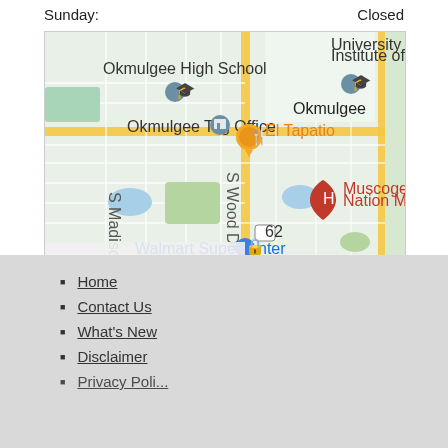Sunday:    Closed
[Figure (map): Google Maps screenshot showing Okmulgee area with landmarks including Okmulgee High School, Okmulgee Tag Office, El Tapatio restaurant marker (orange), Muscogee (Creek) Nation Medical Center, Walmart Supercenter, University Institute of..., S Madison Ave and S Wood Dr streets, and highway 62.]
Home
Contact Us
What's New
Disclaimer
Privacy Poli...